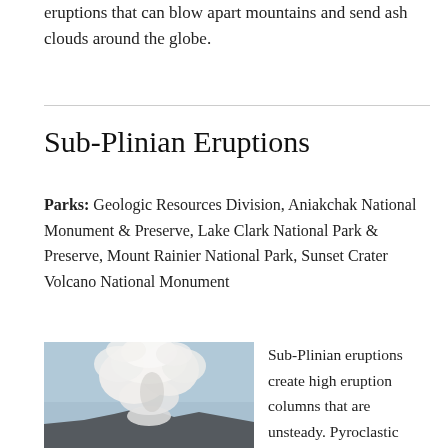eruptions that can blow apart mountains and send ash clouds around the globe.
Sub-Plinian Eruptions
Parks: Geologic Resources Division, Aniakchak National Monument & Preserve, Lake Clark National Park & Preserve, Mount Rainier National Park, Sunset Crater Volcano National Monument
[Figure (photo): Photograph of a large volcanic eruption column rising above a mountain, with billowing white ash and smoke clouds against a blue sky.]
Sub-Plinian eruptions create high eruption columns that are unsteady. Pyroclastic flows and lahars also form during these eruptions from